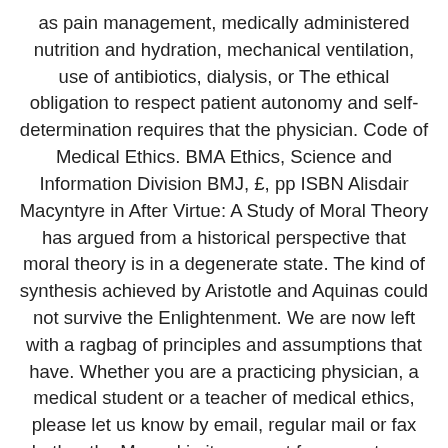as pain management, medically administered nutrition and hydration, mechanical ventilation, use of antibiotics, dialysis, or The ethical obligation to respect patient autonomy and self-determination requires that the physician. Code of Medical Ethics. BMA Ethics, Science and Information Division BMJ, £, pp ISBN Alisdair Macyntyre in After Virtue: A Study of Moral Theory has argued from a historical perspective that moral theory is in a degenerate state. The kind of synthesis achieved by Aristotle and Aquinas could not survive the Enlightenment. We are now left with a ragbag of principles and assumptions that have. Whether you are a practicing physician, a medical student or a teacher of medical ethics, please let us know by email, regular mail or fax whether the Manual in its present form meets your needs and how you think it can be improved in future editions. International Code of Medical Ethics of the